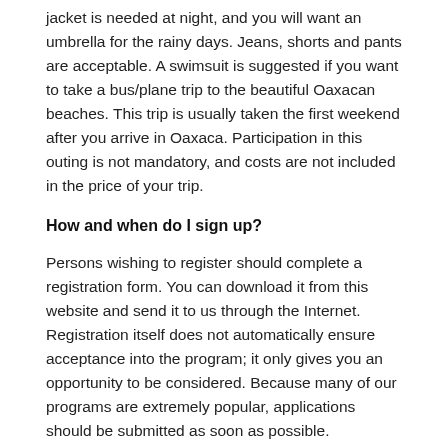jacket is needed at night, and you will want an umbrella for the rainy days. Jeans, shorts and pants are acceptable. A swimsuit is suggested if you want to take a bus/plane trip to the beautiful Oaxacan beaches. This trip is usually taken the first weekend after you arrive in Oaxaca. Participation in this outing is not mandatory, and costs are not included in the price of your trip.
How and when do I sign up?
Persons wishing to register should complete a registration form. You can download it from this website and send it to us through the Internet. Registration itself does not automatically ensure acceptance into the program; it only gives you an opportunity to be considered. Because many of our programs are extremely popular, applications should be submitted as soon as possible.
Release Forms